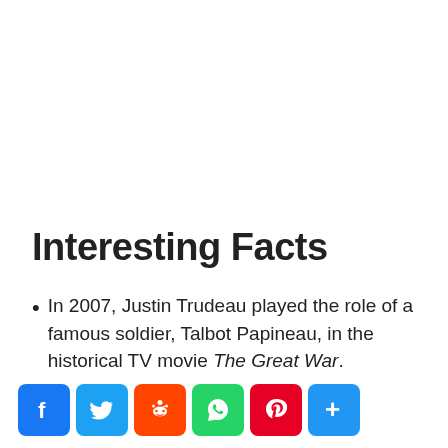Interesting Facts
In 2007, Justin Trudeau played the role of a famous soldier, Talbot Papineau, in the historical TV movie The Great War.
[Figure (infographic): Social media share buttons: Facebook, Twitter, Reddit, WhatsApp, Pinterest, Share/More]